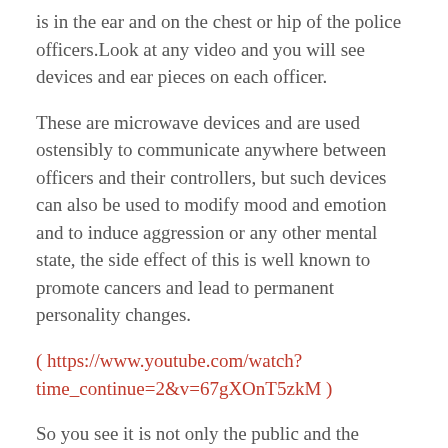is in the ear and on the chest or hip of the police officers.Look at any video and you will see devices and ear pieces on each officer.
These are microwave devices and are used ostensibly to communicate anywhere between officers and their controllers, but such devices can also be used to modify mood and emotion and to induce aggression or any other mental state, the side effect of this is well known to promote cancers and lead to permanent personality changes.
( https://www.youtube.com/watch?time_continue=2&v=67gXOnT5zkM )
So you see it is not only the public and the protesters who are under attack from the fracking and associated avoidance of the word operations. it is the police too.